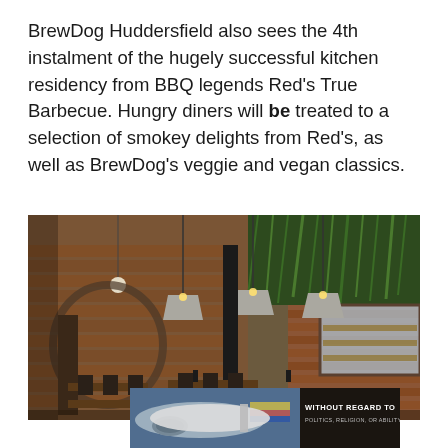BrewDog Huddersfield also sees the 4th instalment of the hugely successful kitchen residency from BBQ legends Red's True Barbecue. Hungry diners will be treated to a selection of smokey delights from Red's, as well as BrewDog's veggie and vegan classics.
[Figure (photo): Interior photograph of a BrewDog bar/restaurant showing rustic brick walls with hanging green plants/ferns, industrial pendant lights, wooden tables and benches, spiral staircase in background, and a mirror reflecting seating area.]
[Figure (photo): Advertisement banner showing an airplane with colorful livery on the left side and text 'WITHOUT REGARD TO POLITICS, RELIGION, OR ABILITY TO PAY' on a dark background on the right side.]